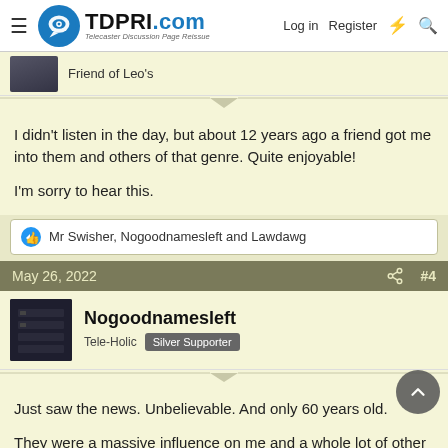TDPRI.com — Telecaster Discussion Page Reissue — Log in | Register
Friend of Leo's
I didn't listen in the day, but about 12 years ago a friend got me into them and others of that genre. Quite enjoyable!

I'm sorry to hear this.
Mr Swisher, Nogoodnamesleft and Lawdawg
May 26, 2022  #4
Nogoodnamesleft
Tele-Holic  Silver Supporter
Just saw the news. Unbelievable. And only 60 years old.

They were a massive influence on me and a whole lot of other people.
Lawdawg and Mr Swisher